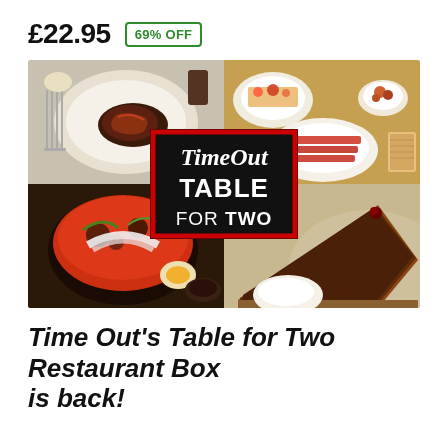£22.95  69% OFF
[Figure (photo): Composite food photo showing four quadrants: top-left steak on white plate, top-right Spanish tapas dishes, bottom-left Korean stew in stone pot with egg, bottom-right chocolate tart slice with cream. Time Out Table for Two logo overlaid in center.]
Time Out's Table for Two Restaurant Box is back!